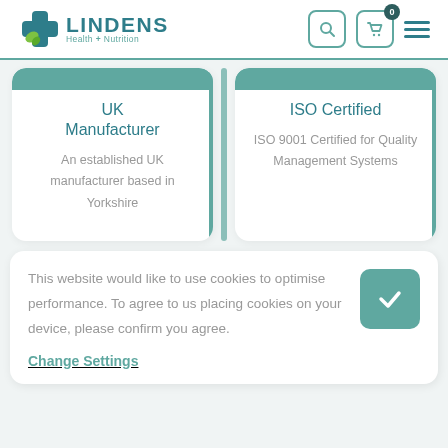[Figure (logo): Lindens Health + Nutrition logo with teal cross and green leaf icon]
UK Manufacturer
An established UK manufacturer based in Yorkshire
ISO Certified
ISO 9001 Certified for Quality Management Systems
This website would like to use cookies to optimise performance. To agree to us placing cookies on your device, please confirm you agree.
Change Settings